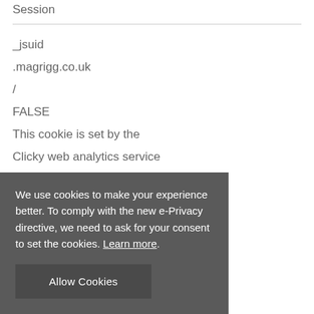Session
_jsuid
.magrigg.co.uk
/
FALSE
This cookie is set by the Clicky web analytics service from Roxr Software. The
We use cookies to make your experience better. To comply with the new e-Privacy directive, we need to ask for your consent to set the cookies. Learn more.